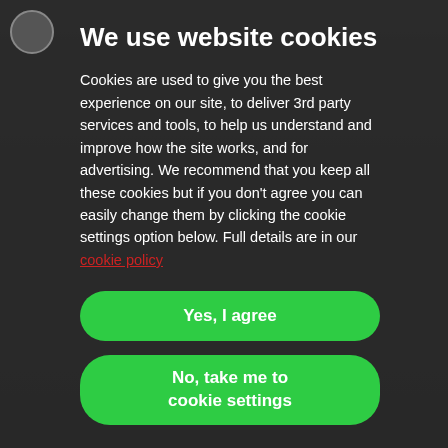We use website cookies
Cookies are used to give you the best experience on our site, to deliver 3rd party services and tools, to help us understand and improve how the site works, and for advertising. We recommend that you keep all these cookies but if you don't agree you can easily change them by clicking the cookie settings option below. Full details are in our cookie policy
Yes, I agree
No, take me to cookie settings